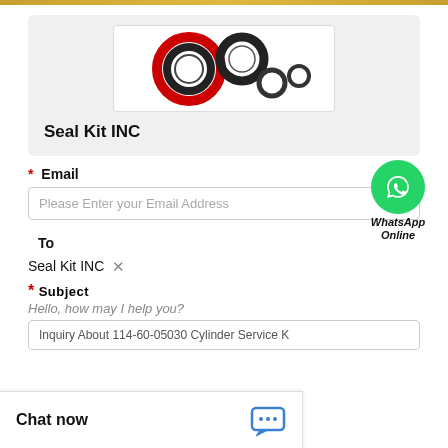[Figure (logo): Seal Kit INC logo showing multiple rubber seals and O-rings in black, red, and white]
Seal Kit INC
* Email
Please Enter your Email Address
[Figure (illustration): WhatsApp green circle icon with phone handset, labeled WhatsApp Online]
To
Seal Kit INC
* Subject
Hello, how may I help you?
Inquiry About 114-60-05030 Cylinder Service K
Chat now